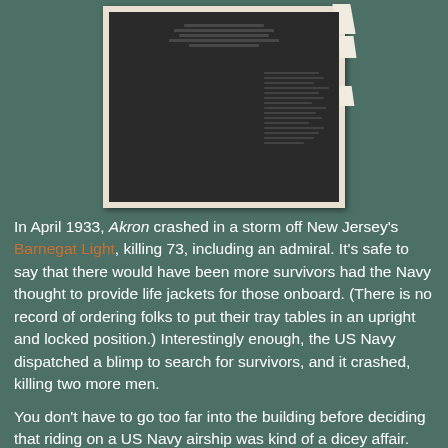[Figure (photo): A dark brown/black memorial plaque or book with embossed text, displayed against a light beige background with paper or cardboard wrapping visible at the edges.]
In April 1933, Akron crashed in a storm off New Jersey's Barnegat Light, killing 73, including an admiral. It's safe to say that there would have been more survivors had the Navy thought to provide life jackets for those onboard. (There is no record of ordering folks to put their tray tables in an upright and locked position.) Interestingly enough, the US Navy dispatched a blimp to search for survivors, and it crashed, killing two more men.
You don't have to go too far into the building before deciding that riding on a US Navy airship was kind of a dicey affair.